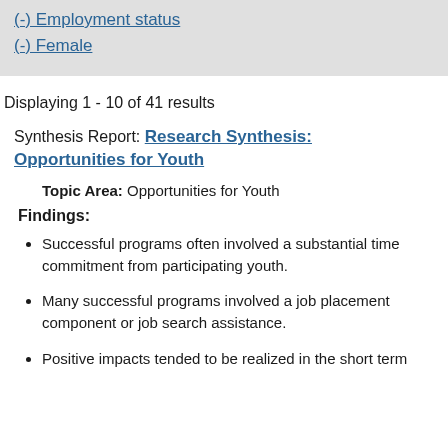(-) Employment status
(-) Female
Displaying 1 - 10 of 41 results
Synthesis Report: Research Synthesis: Opportunities for Youth
Topic Area: Opportunities for Youth
Findings:
Successful programs often involved a substantial time commitment from participating youth.
Many successful programs involved a job placement component or job search assistance.
Positive impacts tended to be realized in the short term